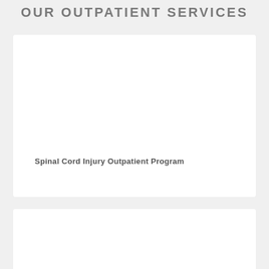OUR OUTPATIENT SERVICES
Spinal Cord Injury Outpatient Program
Brain Injury Outpatient Program